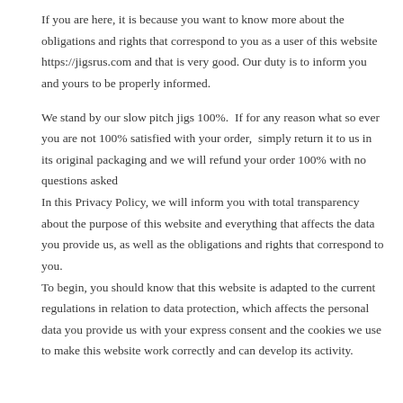If you are here, it is because you want to know more about the obligations and rights that correspond to you as a user of this website https://jigsrus.com and that is very good. Our duty is to inform you and yours to be properly informed.
We stand by our slow pitch jigs 100%.  If for any reason what so ever you are not 100% satisfied with your order,  simply return it to us in its original packaging and we will refund your order 100% with no questions asked
In this Privacy Policy, we will inform you with total transparency about the purpose of this website and everything that affects the data you provide us, as well as the obligations and rights that correspond to you.
To begin, you should know that this website is adapted to the current regulations in relation to data protection, which affects the personal data you provide us with your express consent and the cookies we use to make this website work correctly and can develop its activity.